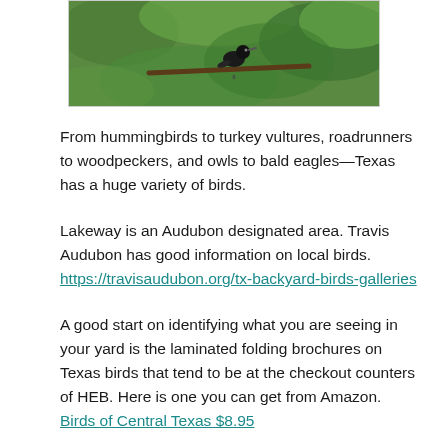[Figure (photo): A bird perched on a branch against a green leafy background, viewed from above/side.]
From hummingbirds to turkey vultures, roadrunners to woodpeckers, and owls to bald eagles—Texas has a huge variety of birds.
Lakeway is an Audubon designated area. Travis Audubon has good information on local birds. https://travisaudubon.org/tx-backyard-birds-galleries
A good start on identifying what you are seeing in your yard is the laminated folding brochures on Texas birds that tend to be at the checkout counters of HEB. Here is one you can get from Amazon. Birds of Central Texas $8.95